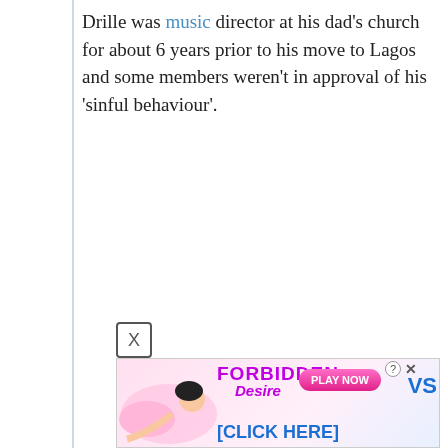Drille was music director at his dad's church for about 6 years prior to his move to Lagos and some members weren't in approval of his ‘sinful behaviour’.
[Figure (screenshot): An advertisement for 'Forbidden Desire' with a pink-clad illustrated female figure, 'PLAY NOW' button in pink, a close (X) button, a help (?) button, and '[CLICK HERE]' text in blue. Partially cut off on the right with 'VS' visible.]